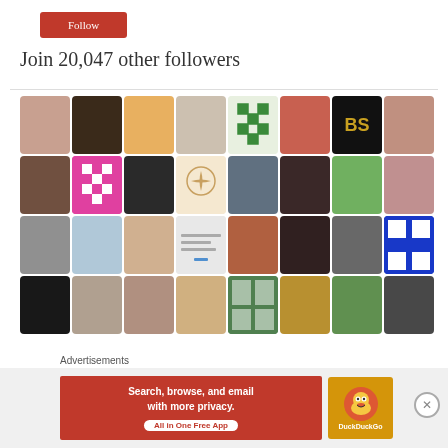[Figure (other): Red subscribe/follow button (partially cropped at top)]
Join 20,047 other followers
[Figure (photo): Grid of 32 follower profile avatars arranged in 4 rows of 8 columns]
Advertisements
[Figure (other): DuckDuckGo advertisement banner: Search, browse, and email with more privacy. All in One Free App]